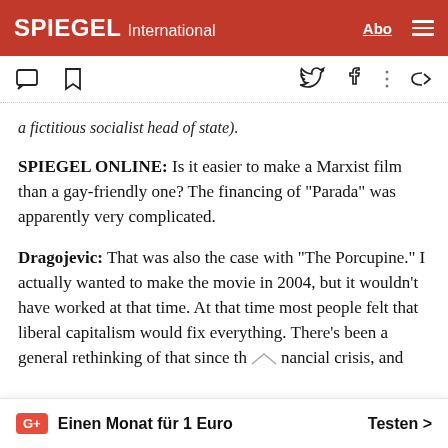SPIEGEL International
a fictitious socialist head of state).
SPIEGEL ONLINE: Is it easier to make a Marxist film than a gay-friendly one? The financing of "Parada" was apparently very complicated.
Dragojevic: That was also the case with "The Porcupine." I actually wanted to make the movie in 2004, but it wouldn't have worked at that time. At that time most people felt that liberal capitalism would fix everything. There's been a general rethinking of that since th financial crisis, and
G+ Einen Monat für 1 Euro   Testen >